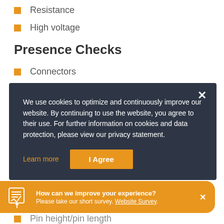Resistance
High voltage
Presence Checks
Connectors
Clips
We use cookies to optimize and continuously improve our website. By continuing to use the website, you agree to their use. For further information on cookies and data protection, please view our privacy statement.
Learn more
I Agree
How can we improve your experience? Please take our short survey. Website Survey.
Pin height/pin length